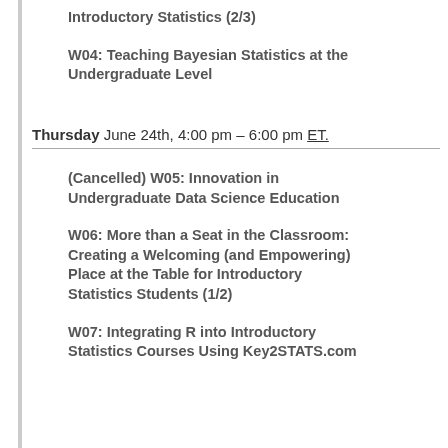Introductory Statistics (2/3)
W04: Teaching Bayesian Statistics at the Undergraduate Level
Thursday June 24th, 4:00 pm – 6:00 pm ET.
(Cancelled) W05: Innovation in Undergraduate Data Science Education
W06: More than a Seat in the Classroom: Creating a Welcoming (and Empowering) Place at the Table for Introductory Statistics Students (1/2)
W07: Integrating R into Introductory Statistics Courses Using Key2STATS.com